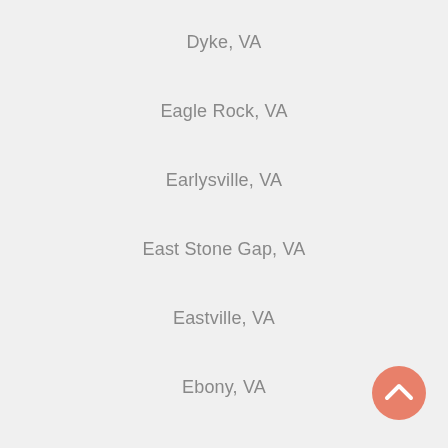Dyke, VA
Eagle Rock, VA
Earlysville, VA
East Stone Gap, VA
Eastville, VA
Ebony, VA
Edinburg, VA
[Figure (illustration): Back to top button — orange/salmon circular button with white upward chevron arrow]